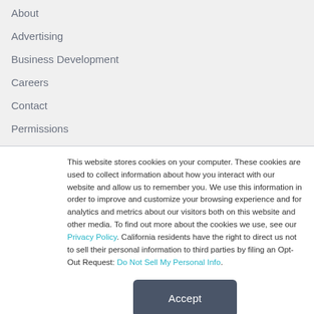About
Advertising
Business Development
Careers
Contact
Permissions
This website stores cookies on your computer. These cookies are used to collect information about how you interact with our website and allow us to remember you. We use this information in order to improve and customize your browsing experience and for analytics and metrics about our visitors both on this website and other media. To find out more about the cookies we use, see our Privacy Policy. California residents have the right to direct us not to sell their personal information to third parties by filing an Opt-Out Request: Do Not Sell My Personal Info.
Accept